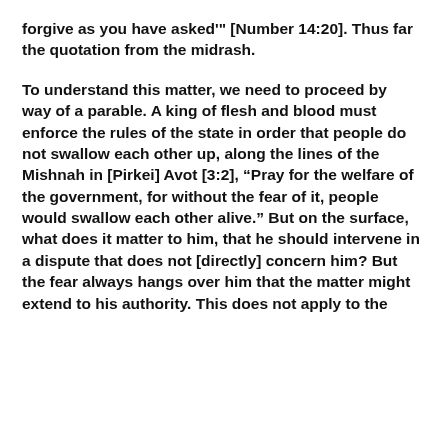forgive as you have asked'" [Number 14:20]. Thus far the quotation from the midrash.
To understand this matter, we need to proceed by way of a parable. A king of flesh and blood must enforce the rules of the state in order that people do not swallow each other up, along the lines of the Mishnah in [Pirkei] Avot [3:2], “Pray for the welfare of the government, for without the fear of it, people would swallow each other alive.” But on the surface, what does it matter to him, that he should intervene in a dispute that does not [directly] concern him? But the fear always hangs over him that the matter might extend to his authority. This does not apply to the